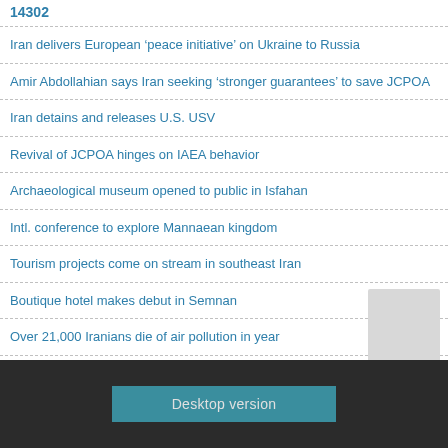14302
Iran delivers European ‘peace initiative’ on Ukraine to Russia
Amir Abdollahian says Iran seeking 'stronger guarantees' to save JCPOA
Iran detains and releases U.S. USV
Revival of JCPOA hinges on IAEA behavior
Archaeological museum opened to public in Isfahan
Intl. conference to explore Mannaean kingdom
Tourism projects come on stream in southeast Iran
Boutique hotel makes debut in Semnan
Over 21,000 Iranians die of air pollution in year
Desktop version